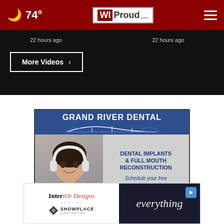74° WIProud.com
22 hours ago   22 hours ago
More Videos ›
[Figure (advertisement): Grand River Dental advertisement featuring dental implants and full mouth reconstruction with a woman wearing headphones. Text: GRAND RIVER DENTAL, DENTAL IMPLANTS & FULL MOUTH RECONSTRUCTION, Schedule your free consultation today!, www.grdlacrosse.c...]
[Figure (advertisement): Interior Designs Showplace Cabinetry advertisement with 'everything' text on dark background and play button icon]